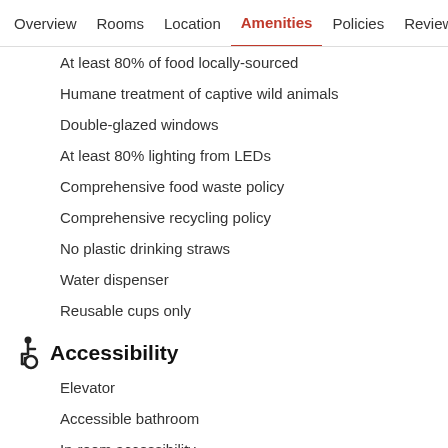Overview  Rooms  Location  Amenities  Policies  Reviews
At least 80% of food locally-sourced
Humane treatment of captive wild animals
Double-glazed windows
At least 80% lighting from LEDs
Comprehensive food waste policy
Comprehensive recycling policy
No plastic drinking straws
Water dispenser
Reusable cups only
Accessibility
Elevator
Accessible bathroom
In-room accessibility
Roll-in shower
Languages